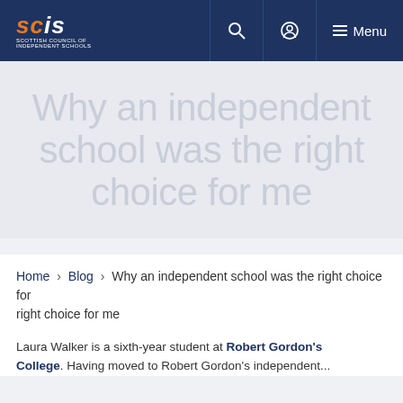SCIS - Scottish Council of Independent Schools navigation bar with search, profile, and menu icons
Why an independent school was the right choice for me
Home > Blog > Why an independent school was the right choice for me
Laura Walker is a sixth-year student at Robert Gordon's College. Having moved to Robert Gordon's independent...